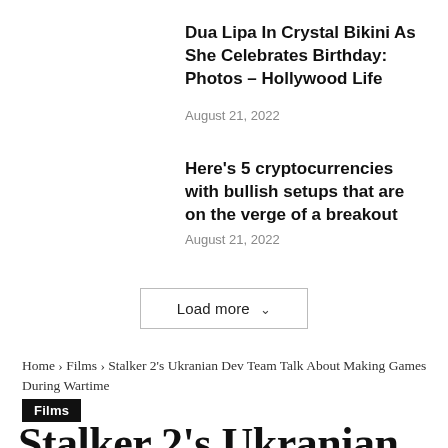Dua Lipa In Crystal Bikini As She Celebrates Birthday: Photos – Hollywood Life
August 21, 2022
Here's 5 cryptocurrencies with bullish setups that are on the verge of a breakout
August 21, 2022
Load more ∨
Home › Films › Stalker 2's Ukranian Dev Team Talk About Making Games During Wartime
Films
Stalker 2's Ukranian Dev Team